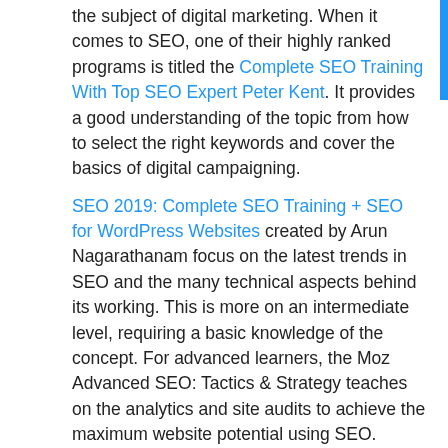the subject of digital marketing. When it comes to SEO, one of their highly ranked programs is titled the Complete SEO Training With Top SEO Expert Peter Kent. It provides a good understanding of the topic from how to select the right keywords and cover the basics of digital campaigning.
SEO 2019: Complete SEO Training + SEO for WordPress Websites created by Arun Nagarathanam focus on the latest trends in SEO and the many technical aspects behind its working. This is more on an intermediate level, requiring a basic knowledge of the concept. For advanced learners, the Moz Advanced SEO: Tactics & Strategy teaches on the analytics and site audits to achieve the maximum website potential using SEO.
3. SEMrush Academy
As one of the prominent provides of digital marketing courses, there is no surprise that SEMrush Academy is a great platform to get certified on SEO specialization...